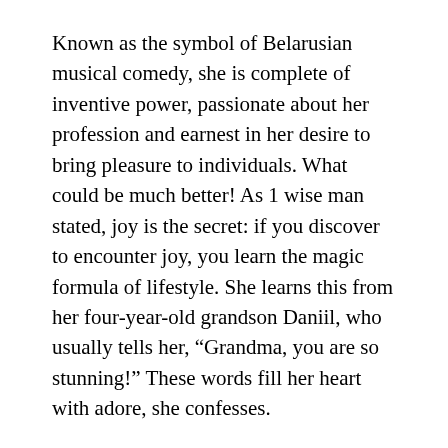Known as the symbol of Belarusian musical comedy, she is complete of inventive power, passionate about her profession and earnest in her desire to bring pleasure to individuals. What could be much better! As 1 wise man stated, joy is the secret: if you discover to encounter joy, you learn the magic formula of lifestyle. She learns this from her four-year-old grandson Daniil, who usually tells her, “Grandma, you are so stunning!” These words fill her heart with adore, she confesses.
Well, the poor news is that you can’t make a digital piano sound precisely like a real piano. However, you can kind of fake it. Here are a few mixing tips that will assist good digital pianos sound much more like genuine uprights and grands.
Jaguar appeared uneasy for a second. “These bats are bigger than the ones we noticed on the way right here.